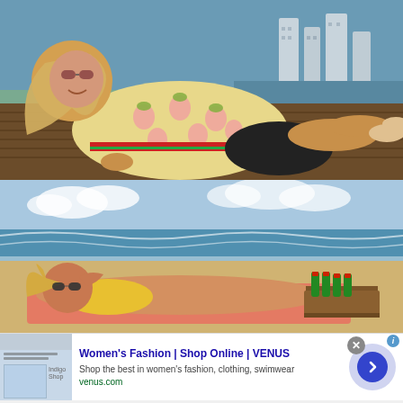[Figure (photo): Woman in yellow pineapple-print shirt and black shorts lying on a wooden dock, smiling, with sunglasses, cityscape with tall buildings in background, sunny day]
[Figure (photo): Person lying on beach towel on sandy beach with green beer bottles on a small table nearby, ocean waves and blue sky in background]
[Figure (screenshot): Online advertisement for VENUS women's fashion. Shows thumbnail of website, bold blue title 'Women's Fashion | Shop Online | VENUS', description text 'Shop the best in women's fashion, clothing, swimwear', URL 'venus.com' in green, circular arrow button on right, close X button, and ad badge icon.]